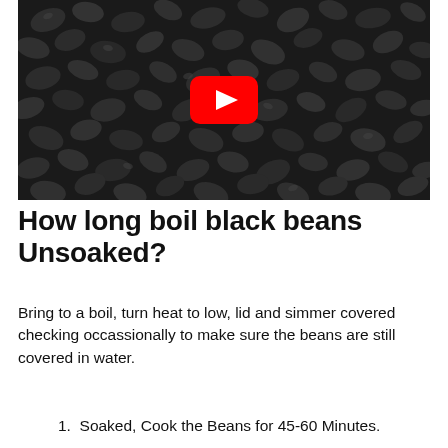[Figure (photo): A photo of black beans filling the frame, with a red YouTube play button overlay in the center.]
How long boil black beans Unsoaked?
Bring to a boil, turn heat to low, lid and simmer covered checking occassionally to make sure the beans are still covered in water.
Soaked, Cook the Beans for 45-60 Minutes.